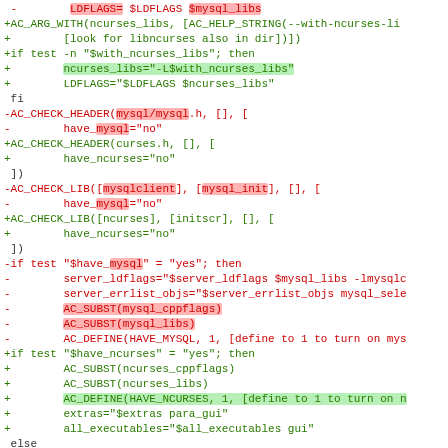[Figure (screenshot): Diff view of a configure.ac script showing removal of MySQL-related AC macros and addition of ncurses-related AC macros. Removed lines are in red, added lines are in green, with inline highlights on changed tokens.]